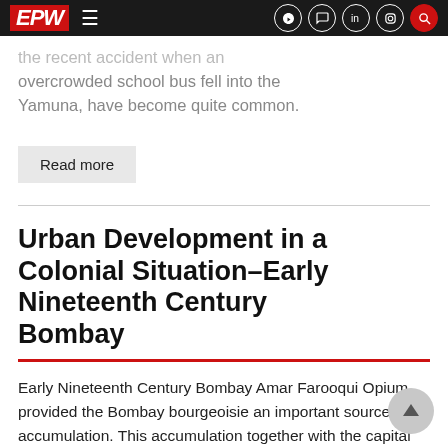EPW
the recent accident when an overcrowded school bus fell into the Yamuna, have become quite common.
Read more
Urban Development in a Colonial Situation-Early Nineteenth Century Bombay
Early Nineteenth Century Bombay Amar Farooqui Opium provided the Bombay bourgeoisie an important source of accumulation. This accumulation together with the capital which had become